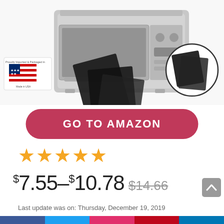[Figure (photo): Product photo of a stainless steel toaster oven with black non-stick liner mats in front, a US flag badge reading 'Proudly Imported & Packaged in USA / Made in USA', and a circular inset showing two black mat sheets on the right side.]
GO TO AMAZON
★★★★★
$7.55–$10.78 $14.66
Last update was on: Thursday, December 19, 2019
SAVE TIME AND ELIMINATE THE HEADACHES